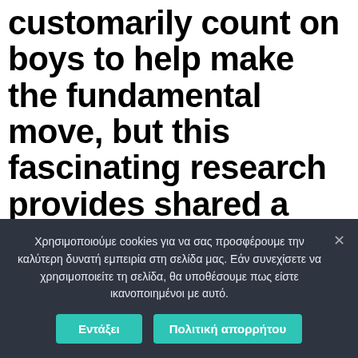customarily count on boys to help make the fundamental move, but this fascinating research provides shared a significant difference in how gents and ladies utilize online dating software.
A relationship software had been likely to making matchmaking
Χρησιμοποιούμε cookies για να σας προσφέρουμε την καλύτερη δυνατή εμπειρία στη σελίδα μας. Εάν συνεχίσετε να χρησιμοποιείτε τη σελίδα, θα υποθέσουμε πως είστε ικανοποιημένοι με αυτό.
Εντάξει | Πολιτική απορρήτου